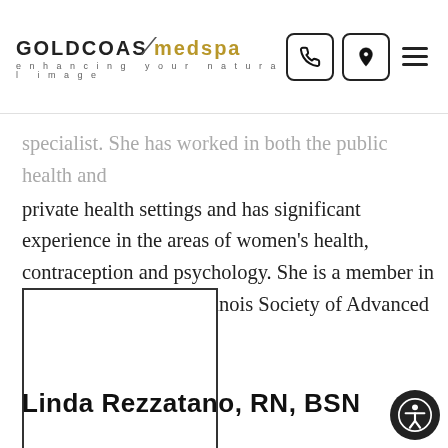GOLDCOAST medspa — enhancing your natural image
specialist. She has worked in both the public health and private health settings and has significant experience in the areas of women's health, contraception and psychology. She is a member in good standing of the Illinois Society of Advanced Practice Nurses.
[Figure (photo): Empty photo placeholder box with border for Linda Rezzatano]
Linda Rezzatano, RN, BSN